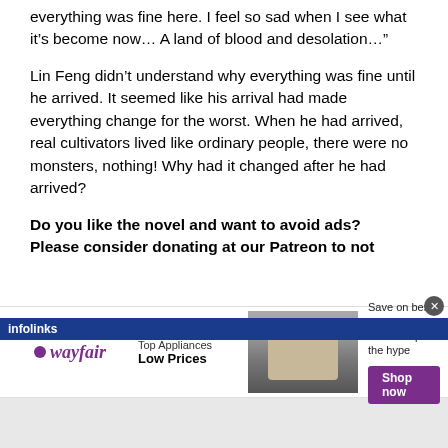everything was fine here. I feel so sad when I see what it’s become now… A land of blood and desolation…”
Lin Feng didn’t understand why everything was fine until he arrived. It seemed like his arrival had made everything change for the worst. When he had arrived, real cultivators lived like ordinary people, there were no monsters, nothing! Why had it changed after he had arrived?
Do you like the novel and want to avoid ads? Please consider donating at our Patreon to not
[Figure (screenshot): Wayfair advertisement banner showing Top Appliances Low Prices with an image of a stove and a Shop now button, with infolinks label at top]